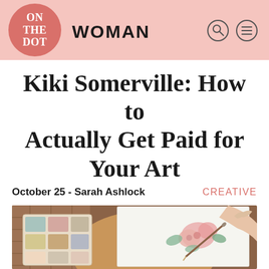ON THE DOT WOMAN
Kiki Somerville: How to Actually Get Paid for Your Art
October 25 - Sarah Ashlock   CREATIVE
[Figure (photo): Overhead view of a person's hand painting watercolor flowers on white paper, with a watercolor paint palette on a wooden table surface]